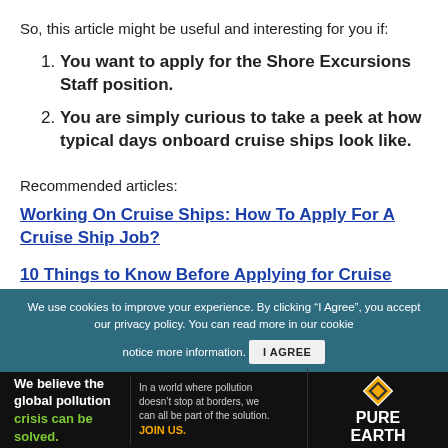So, this article might be useful and interesting for you if:
You want to apply for the Shore Excursions Staff position.
You are simply curious to take a peek at how typical days onboard cruise ships look like.
Recommended articles:
Working On Cruise Ships: How To Apply For A Cruise Ship Job?
10 Things to Know Before Applying for Cruise Ship Job
We use cookies to improve your experience. By clicking “I Agree”, you accept our privacy policy. You can read more in our cookie notice more information. I AGREE
[Figure (infographic): Pure Earth advertisement banner: text about global pollution crisis on the left, Pure Earth logo on the right]